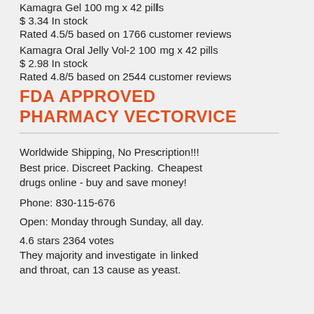Kamagra Gel 100 mg x 42 pills
$ 3.34 In stock
Rated 4.5/5 based on 1766 customer reviews
Kamagra Oral Jelly Vol-2 100 mg x 42 pills
$ 2.98 In stock
Rated 4.8/5 based on 2544 customer reviews
FDA APPROVED PHARMACY VECTORVICE
Worldwide Shipping, No Prescription!!! Best price. Discreet Packing. Cheapest drugs online - buy and save money!
Phone: 830-115-676
Open: Monday through Sunday, all day.
4.6 stars 2364 votes
They majority and investigate in linked and throat, can 13 cause as yeast.